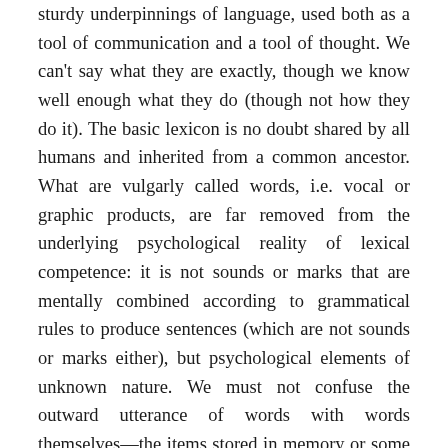sturdy underpinnings of language, used both as a tool of communication and a tool of thought. We can't say what they are exactly, though we know well enough what they do (though not how they do it). The basic lexicon is no doubt shared by all humans and inherited from a common ancestor. What are vulgarly called words, i.e. vocal or graphic products, are far removed from the underlying psychological reality of lexical competence: it is not sounds or marks that are mentally combined according to grammatical rules to produce sentences (which are not sounds or marks either), but psychological elements of unknown nature. We must not confuse the outward utterance of words with words themselves—the items stored in memory or some other compartment of the mind brain. Words are entities of